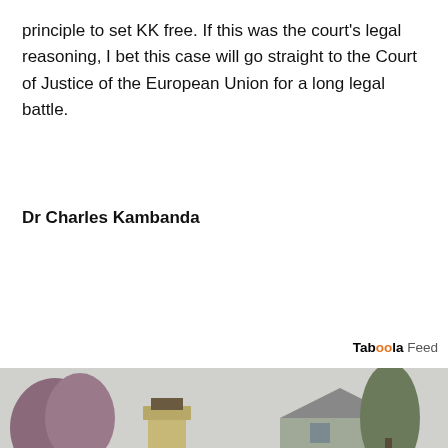principle to set KK free. If this was the court's legal reasoning, I bet this case will go straight to the Court of Justice of the European Union for a long legal battle.
Dr Charles Kambanda
[Figure (photo): Photograph of a damaged residential roof with missing and curled shingles, a brick chimney, and surrounding trees and houses visible in the background.]
We use cookies to ensure that we give you the best experience on our website. If you continue to use this site we will assume that you are happy with it.
Ok